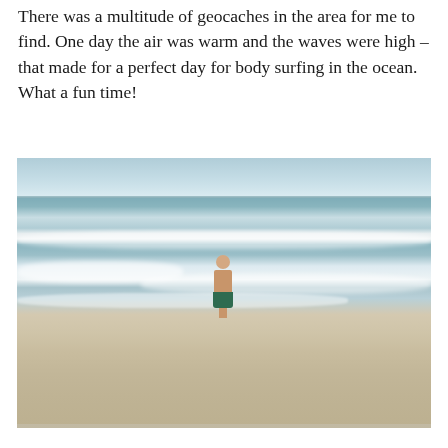There was a multitude of geocaches in the area for me to find. One day the air was warm and the waves were high – that made for a perfect day for body surfing in the ocean. What a fun time!
[Figure (photo): A person in green swim shorts standing in ocean surf on a beach, with waves breaking around them and sandy beach in the foreground.]